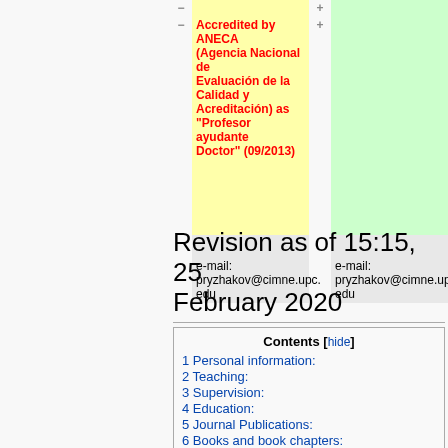| − | content | + | content2 |
| --- | --- | --- | --- |
| − | Accredited by ANECA (Agencia Nacional de Evaluación de la Calidad y Acreditación) as "Profesor ayudante Doctor" (09/2013) | + |  |
|  |  |  |  |
|  | e-mail: pryzhakov@cimne.upc.edu |  | e-mail: pryzhakov@cimne.upc.edu |
Revision as of 15:15, 25 February 2020
Contents [hide]
1 Personal information:
2 Teaching:
3 Supervision:
4 Education:
5 Journal Publications:
6 Books and book chapters: